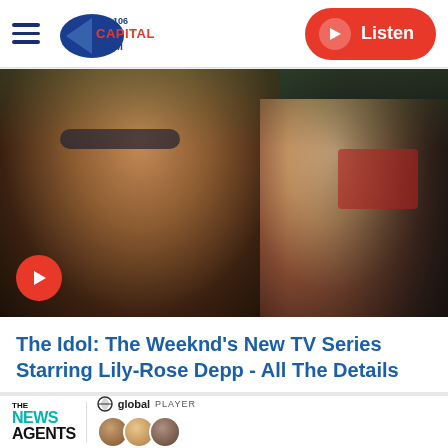Capital FM 95-106 | Listen
[Figure (photo): Three people wearing sunglasses — a smiling man on the left, a blonde woman in the center, and a man on the right — promotional image for The Idol TV series with a red play button overlay]
The Idol: The Weeknd's New TV Series Starring Lily-Rose Depp - All The Details
[Figure (photo): Global Player advertisement featuring The News Agents podcast logo in teal and black, with three podcast hosts shown]